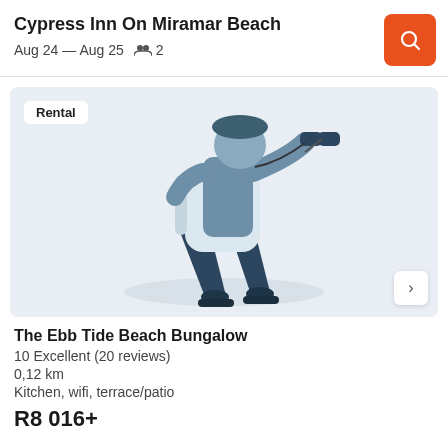Cypress Inn On Miramar Beach
Aug 24 — Aug 25   2
[Figure (illustration): Illustration of a person with a backpack looking through binoculars, rendered in flat geometric style in blues and grays on a light blue-gray background.]
Rental
The Ebb Tide Beach Bungalow
10 Excellent (20 reviews)
0,12 km
Kitchen, wifi, terrace/patio
R8 016+